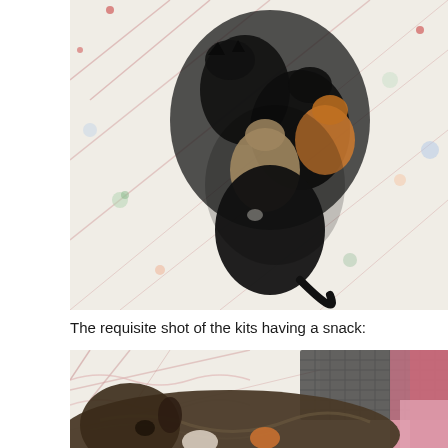[Figure (photo): Overhead view of newborn kittens — black, cream/beige, and orange — clustered together on a white floral-patterned quilt/bedspread with pink striped and blue floral motifs.]
The requisite shot of the kits having a snack:
[Figure (photo): A long-haired dark mother cat lying on the same floral quilt, nursing kittens. A wire crate and pink walls visible in the background.]